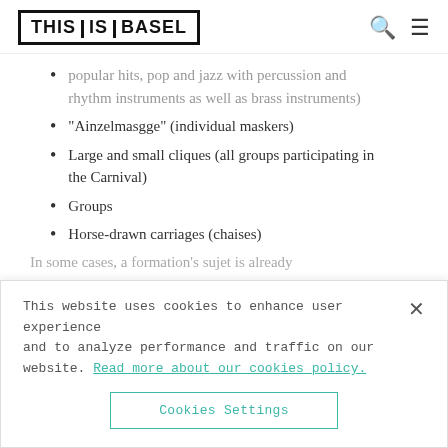THIS IS BASEL
popular hits, pop and jazz with percussion and rhythm instruments as well as brass instruments)
“Ainzelmasgge” (individual maskers)
Large and small cliques (all groups participating in the Carnival)
Groups
Horse-drawn carriages (chaises)
In some cases, a formation’s sujet is already
This website uses cookies to enhance user experience and to analyze performance and traffic on our website. Read more about our cookies policy.
Cookies Settings